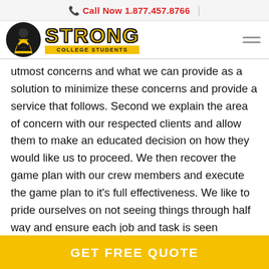Call Now 1.877.457.8766
[Figure (logo): Strong College Students logo with black circular icon and yellow bold text reading STRONG COLLEGE STUDENTS]
utmost concerns and what we can provide as a solution to minimize these concerns and provide a service that follows. Second we explain the area of concern with our respected clients and allow them to make an educated decision on how they would like us to proceed. We then recover the game plan with our crew members and execute the game plan to it's full effectiveness. We like to pride ourselves on not seeing things through half way and ensure each job and task is seen through from start to finish. We hustle and execute are daily values and provide those in person
GET FREE QUOTE